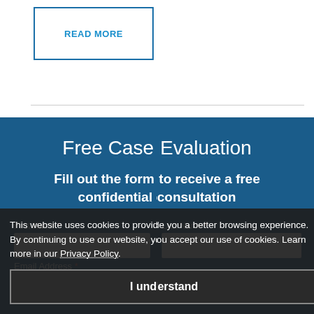READ MORE
Free Case Evaluation
Fill out the form to receive a free confidential consultation
Email Address
This website uses cookies to provide you a better browsing experience. By continuing to use our website, you accept our use of cookies. Learn more in our Privacy Policy.
I understand